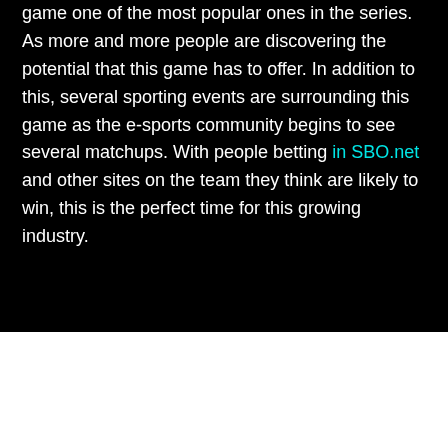game one of the most popular ones in the series. As more and more people are discovering the potential that this game has to offer. In addition to this, several sporting events are surrounding this game as the e-sports community begins to see several matchups. With people betting in SBO.net and other sites on the team they think are likely to win, this is the perfect time for this growing industry.